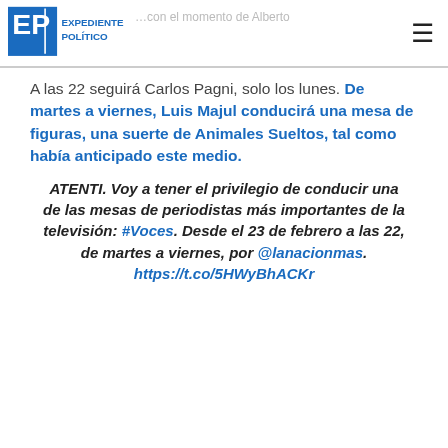Expediente Político
A las 22 seguirá Carlos Pagni, solo los lunes. De martes a viernes, Luis Majul conducirá una mesa de figuras, una suerte de Animales Sueltos, tal como había anticipado este medio.
ATENTI. Voy a tener el privilegio de conducir una de las mesas de periodistas más importantes de la televisión: #Voces. Desde el 23 de febrero a las 22, de martes a viernes, por @lanacionmas. https://t.co/5HWyBhACKr